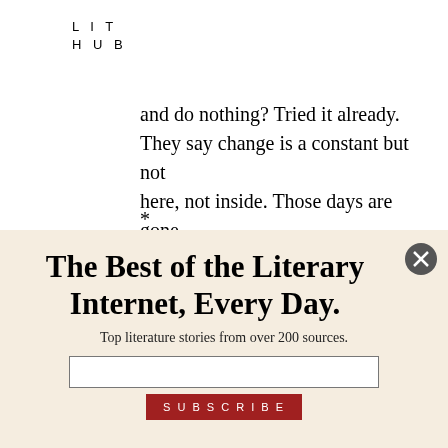LIT
HUB
and do nothing? Tried it already. They say change is a constant but not here, not inside. Those days are gone.
*
Names of Special Forces personnel were changed in the process of obtaining
The Best of the Literary Internet, Every Day.
Top literature stories from over 200 sources.